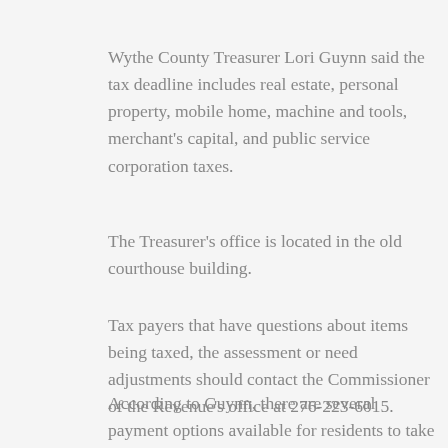Wythe County Treasurer Lori Guynn said the tax deadline includes real estate, personal property, mobile home, machine and tools, merchant's capital, and public service corporation taxes.
The Treasurer's office is located in the old courthouse building.
Tax payers that have questions about items being taxed, the assessment or need adjustments should contact the Commissioner of the Revenue's office at 276-223-6015.
According to Guynn, there are several payment options available for residents to take advantage of when paying their taxes.